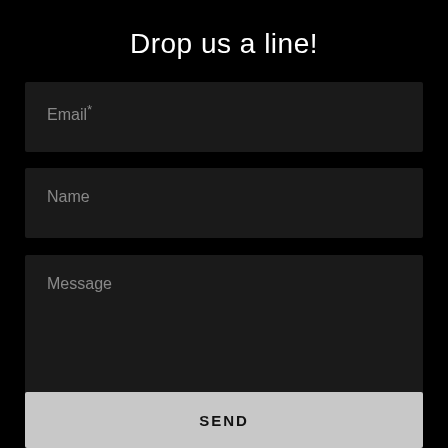Drop us a line!
Email*
Name
Message
SEND